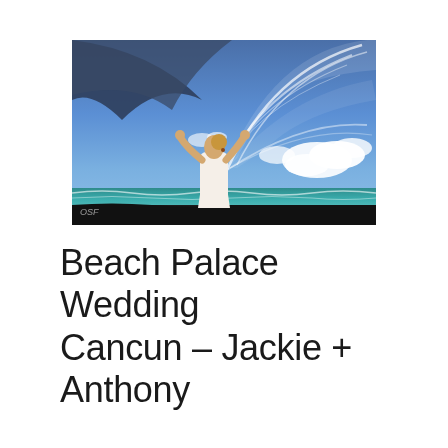[Figure (photo): A bride in a white dress standing on a beach, arms raised overhead holding a flowing white veil that billows dramatically in the wind against a blue sky with white clouds and ocean in the background. A watermark logo is visible in the bottom left corner.]
Beach Palace Wedding Cancun – Jackie + Anthony